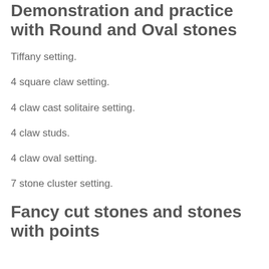Demonstration and practice with Round and Oval stones
Tiffany setting.
4 square claw setting.
4 claw cast solitaire setting.
4 claw studs.
4 claw oval setting.
7 stone cluster setting.
Fancy cut stones and stones with points